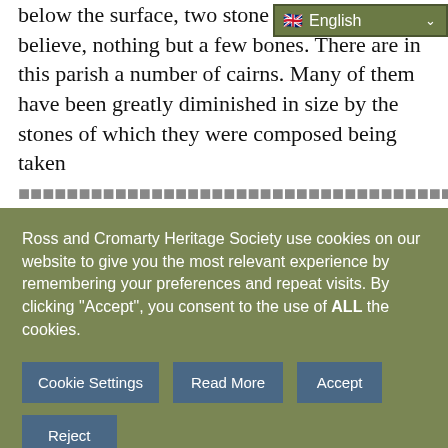below the surface, two stone coffin ... believe, nothing but a few bones. There are in this parish a number of cairns. Many of them have been greatly diminished in size by the stones of which they were composed being taken
[Figure (screenshot): Cookie consent overlay from Ross and Cromarty Heritage Society website with language selector dropdown showing English, cookie notice text, and buttons: Cookie Settings, Read More, Accept, Reject]
under it  and refused to touch it, and it was with no small difficulty that they were at length induced to assist in its removal. On the summit of a wooded hill called Knock Navie, there is a cairn named Carna na Croiche, i.e. the cairn of the gallows. The tradition connected with it is that some men who